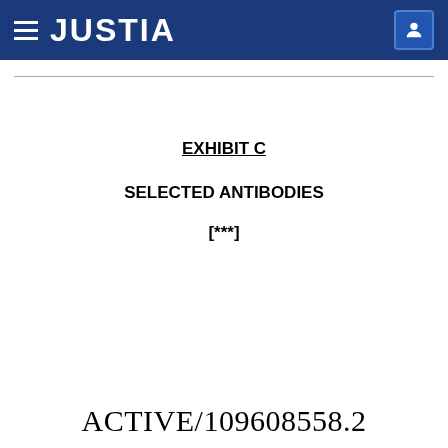JUSTIA
EXHIBIT C
SELECTED ANTIBODIES
[***]
ACTIVE/109608558.2